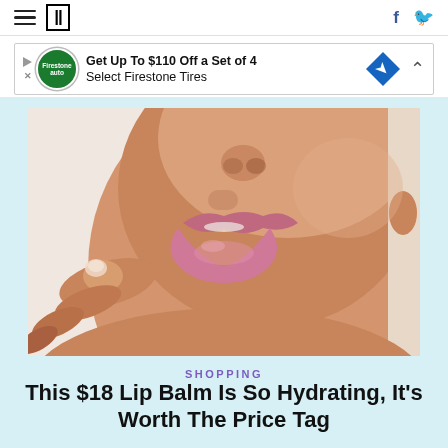HuffPost navigation with hamburger menu and HuffPost logo, Facebook and Twitter icons
[Figure (screenshot): Advertisement banner: Get Up To $110 Off a Set of 4 Select Firestone Tires, with Firestone Auto logo and navigation arrow diamond icon]
[Figure (photo): Close-up photo of a woman's lips and lower face with finger touching lower lip, beauty/cosmetics context]
SHOPPING
This $18 Lip Balm Is So Hydrating, It’s Worth The Price Tag